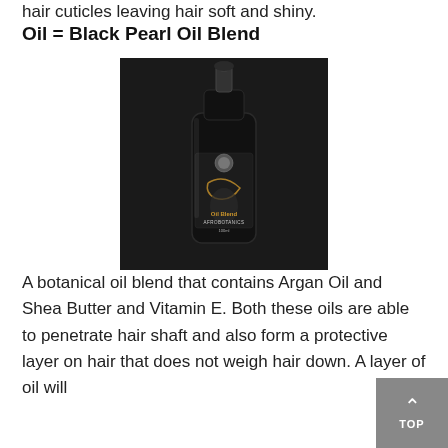hair cuticles leaving hair soft and shiny.
Oil = Black Pearl Oil Blend
[Figure (photo): A dark glass bottle of Black Pearl Oil Blend hair product with a pump top, featuring a label with a woman with flowing hair and text reading 'Oil Blend', 'AFROBOTANICS', and '100ml', on a dark textured background.]
A botanical oil blend that contains Argan Oil and Shea Butter and Vitamin E. Both these oils are able to penetrate hair shaft and also form a protective layer on hair that does not weigh hair down. A layer of oil will